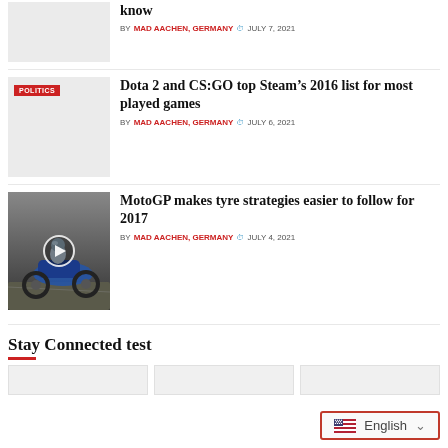know
BY MAD AACHEN, GERMANY  JULY 7, 2021
[Figure (photo): Gray placeholder thumbnail with POLITICS tag]
Dota 2 and CS:GO top Steam’s 2016 list for most played games
BY MAD AACHEN, GERMANY  JULY 6, 2021
[Figure (photo): MotoGP motorcycle racing photo with POLITICS tag and video play button]
MotoGP makes tyre strategies easier to follow for 2017
BY MAD AACHEN, GERMANY  JULY 4, 2021
Stay Connected test
English (language selector)